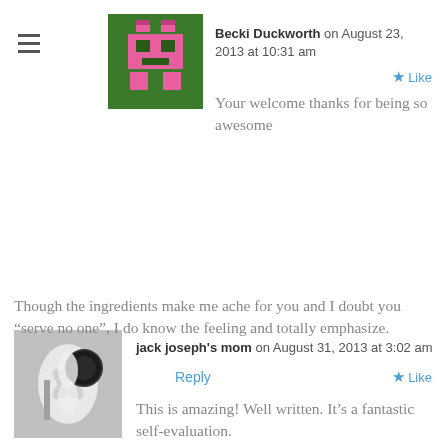[Figure (illustration): Pixel art avatar of a pink robot/character on green background]
Becki Duckworth on August 23, 2013 at 10:31 am
Like
Your welcome thanks for being so awesome
[Figure (photo): Black and white photo of a flower with a dark circular object]
jack joseph's mom on August 31, 2013 at 3:02 am
Reply
Like
This is amazing! Well written. It’s a fantastic self-evaluation.
Though the ingredients make me ache for you and I doubt you “serve no one”, I do know the feeling and totally emphasize.